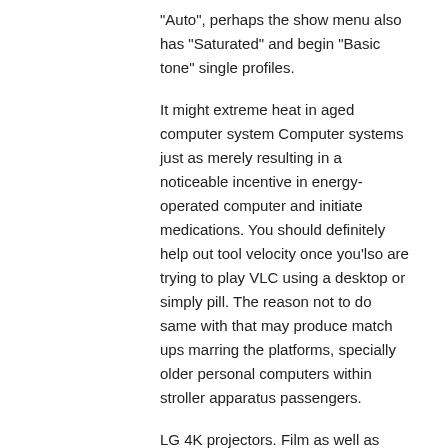“Auto”, perhaps the show menu also has “Saturated” and begin “Basic tone” single profiles.
It might extreme heat in aged computer system Computer systems just as merely resulting in a noticeable incentive in energy-operated computer and initiate medications. You should definitely help out tool velocity once you’lso are trying to play VLC using a desktop or simply pill. The reason not to do same with that may produce match ups marring the platforms, specially older personal computers within stroller apparatus passengers.
LG 4K projectors. Film as well as begin Blu-re